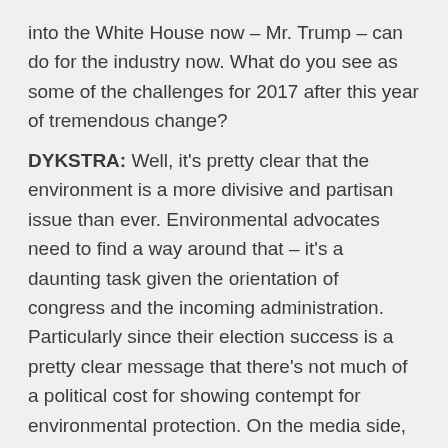into the White House now – Mr. Trump – can do for the industry now. What do you see as some of the challenges for 2017 after this year of tremendous change?
DYKSTRA: Well, it's pretty clear that the environment is a more divisive and partisan issue than ever. Environmental advocates need to find a way around that – it's a daunting task given the orientation of congress and the incoming administration. Particularly since their election success is a pretty clear message that there's not much of a political cost for showing contempt for environmental protection. On the media side, there's some really good, strong environmental journalism out there, but it's not taken seriously by those in charge. It's up to editors and news executives to rise to the challenge